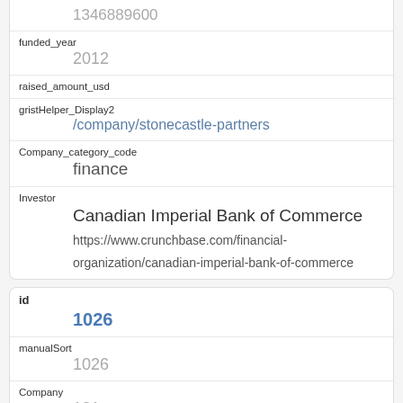1346889600
funded_year
2012
raised_amount_usd
gristHelper_Display2
/company/stonecastle-partners
Company_category_code
finance
Investor
Canadian Imperial Bank of Commerce
https://www.crunchbase.com/financial-organization/canadian-imperial-bank-of-commerce
id
1026
manualSort
1026
Company
131